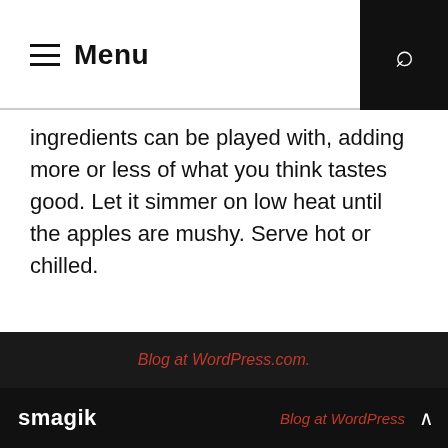Menu
ingredients can be played with, adding more or less of what you think tastes good. Let it simmer on low heat until the apples are mushy. Serve hot or chilled.
[Figure (other): Loading spinner icon]
Blog at WordPress.com.
smagik   Blog at WordPress